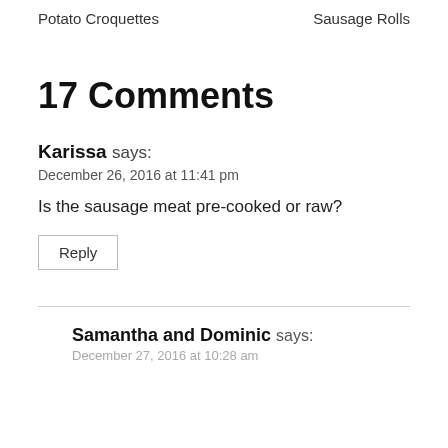Potato Croquettes    Sausage Rolls
17 Comments
Karissa says:
December 26, 2016 at 11:41 pm
Is the sausage meat pre-cooked or raw?
Reply
Samantha and Dominic says:
December 27, 2016 at 10:28 am